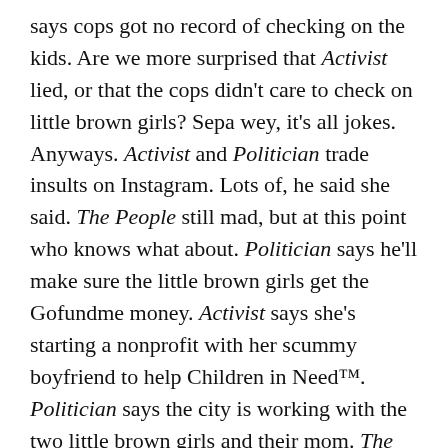says cops got no record of checking on the kids. Are we more surprised that Activist lied, or that the cops didn't care to check on little brown girls? Sepa wey, it's all jokes. Anyways. Activist and Politician trade insults on Instagram. Lots of, he said she said. The People still mad, but at this point who knows what about. Politician says he'll make sure the little brown girls get the Gofundme money. Activist says she's starting a nonprofit with her scummy boyfriend to help Children in Need™. Politician says the city is working with the two little brown girls and their mom. The People think this is a happy ending all around. Outrage over.
On Friday, two little brown girls sit outside Taco Bell for the free wifi so they can do their schoolwork.
Marcos Damián León is a teacher and writer from the Salinas Valley. He holds an MFA from The University of